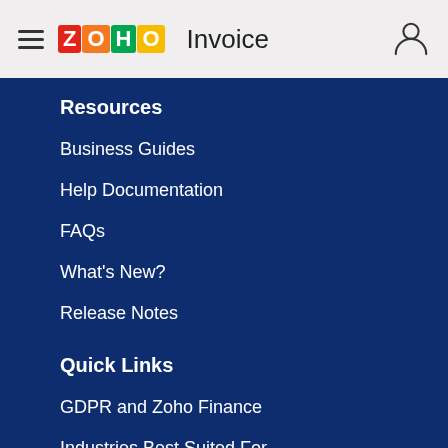ZOHO Invoice
Resources
Business Guides
Help Documentation
FAQs
What's New?
Release Notes
Quick Links
GDPR and Zoho Finance
Industries Best Suited For
Invoice Templates